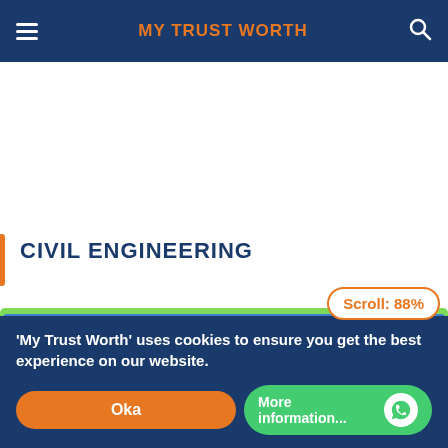MY TRUST WORTH
CIVIL ENGINEERING
'My Trust Worth' uses cookies to ensure you get the best experience on our website.
Okay
More information...
Scroll: 88%